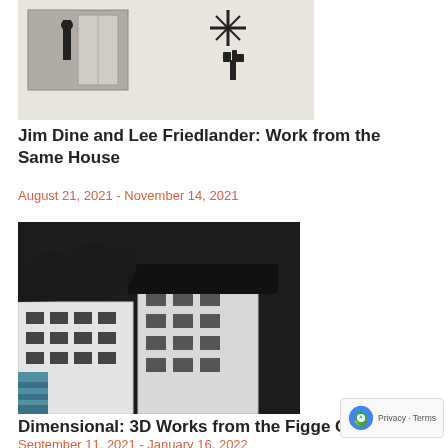[Figure (photo): Black and white photograph showing a gallery wall with artwork — a framed photograph of a person and a star-like and tree-like sculptural element on white wall]
Jim Dine and Lee Friedlander: Work from the Same House
August 21, 2021 - November 14, 2021
[Figure (photo): Black and white photograph of sculptural artwork resembling building facades with dark organic material on top, architectural-looking white structures with windows]
Dimensional: 3D Works from the Figge Collect
September 11, 2021 - January 16, 2022